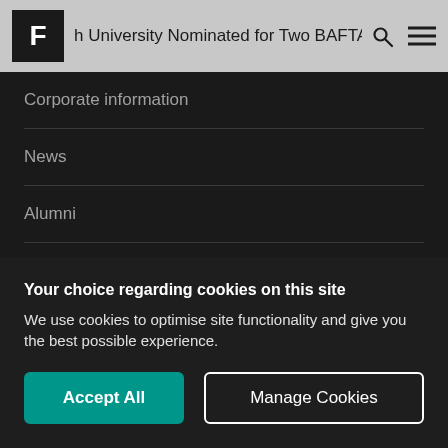h University Nominated for Two BAFTAs
Corporate information
News
Alumni
Contact us
Find...
Your choice regarding cookies on this site
We use cookies to optimise site functionality and give you the best possible experience.
Accept All | Manage Cookies